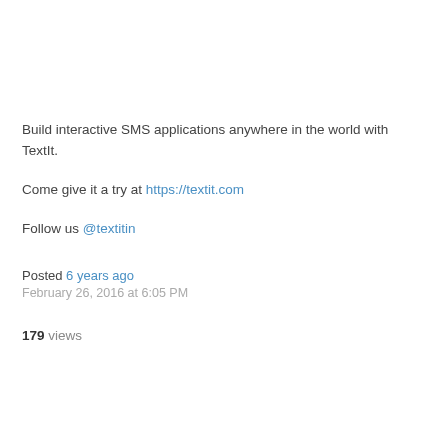Build interactive SMS applications anywhere in the world with TextIt.
Come give it a try at https://textit.com
Follow us @textitin
Posted 6 years ago
February 26, 2016 at 6:05 PM
179 views